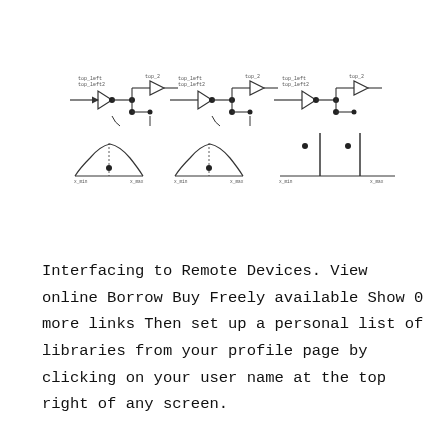[Figure (schematic): Four schematic diagrams arranged side by side showing signal flow networks with nodes, arrows, and Gaussian-shaped distribution curves below each. The diagrams appear to relate to interfacing or signal processing concepts with labeled nodes and connections.]
Interfacing to Remote Devices. View online Borrow Buy Freely available Show 0 more links Then set up a personal list of libraries from your profile page by clicking on your user name at the top right of any screen.